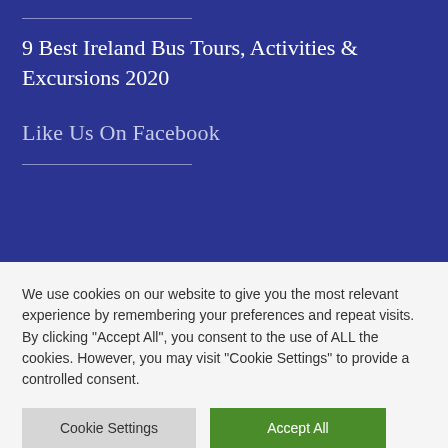9 Best Ireland Bus Tours, Activities & Excursions 2020
Like Us On Facebook
We use cookies on our website to give you the most relevant experience by remembering your preferences and repeat visits. By clicking "Accept All", you consent to the use of ALL the cookies. However, you may visit "Cookie Settings" to provide a controlled consent.